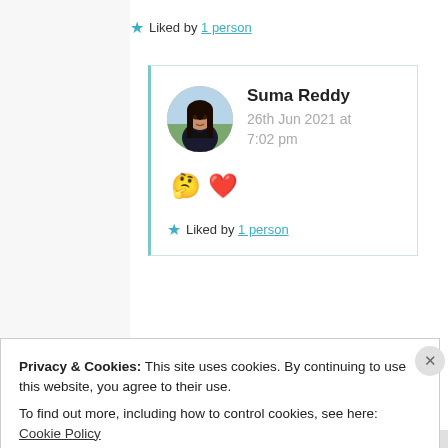★ Liked by 1 person
Suma Reddy
26th Jun 2021 at 7:02 pm
🤔 ❤️
★ Liked by 1 person
Privacy & Cookies: This site uses cookies. By continuing to use this website, you agree to their use.
To find out more, including how to control cookies, see here: Cookie Policy
Close and accept